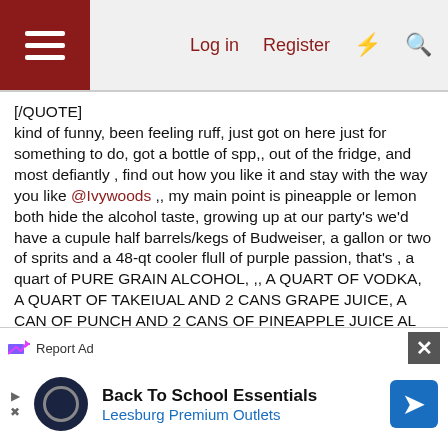Log in  Register
[/QUOTE]
kind of funny, been feeling ruff, just got on here just for something to do, got a bottle of spp,, out of the fridge, and most defiantly , find out how you like it and stay with the way you like @Ivywoods ,, my main point is pineapple or lemon both hide the alcohol taste, growing up at our party's we'd have a cupule half barrels/kegs of Budweiser, a gallon or two of sprits and a 48-qt cooler flull of purple passion, that's , a quart of PURE GRAIN ALCOHOL, ,, A QUART OF VODKA, A QUART OF TAKEIUAL AND 2 CANS GRAPE JUICE, A CAN OF PUNCH AND 2 CANS OF PINEAPPLE JUICE AL OF WHICH ALL CANS WERE QUARTS, THEN CUT WEDGES OF APPLES, PEARS, ORANGES, LEMON, CHIPS SHOP BANANA,S
[Figure (screenshot): Advertisement banner for Back To School Essentials - Leesburg Premium Outlets]